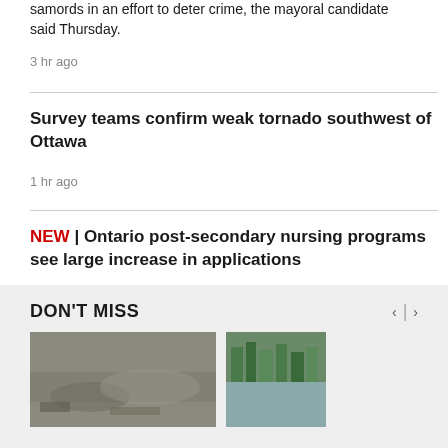samords in an effort to deter crime, the mayoral candidate said Thursday.
3 hr ago
Survey teams confirm weak tornado southwest of Ottawa
1 hr ago
NEW | Ontario post-secondary nursing programs see large increase in applications
44 min ago
DON'T MISS
[Figure (photo): Two thumbnail images: left shows sandy/muddy ground texture, right shows trees along a shoreline]